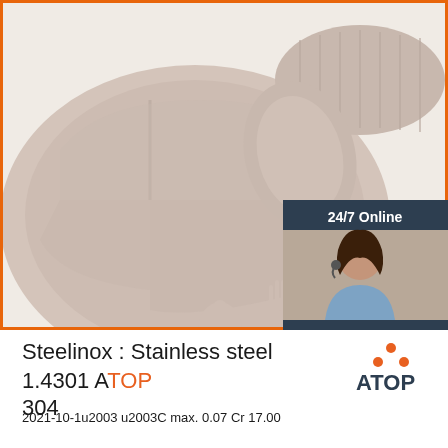[Figure (photo): Photo of a silicone baby feeding set including a divided plate, bowl, spoon, and fork with wooden handles in beige/taupe color. An orange border frames the image. A 24/7 online chat widget is overlaid in the bottom-right corner with a customer service agent photo, text 'Click here for free chat!' and an orange QUOTATION button.]
Steelinox : Stainless steel 1.4301 ATOP 304
2021-10-1u2003 u2003C max. 0.07 Cr 17.00